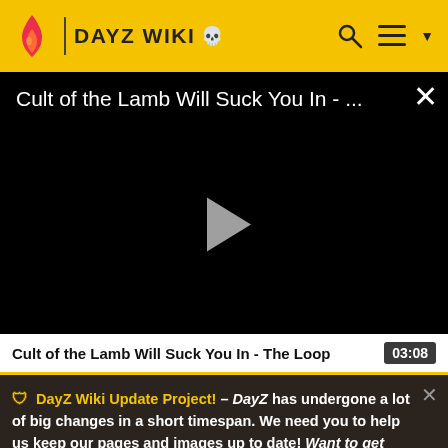DAYZ WIKI
[Figure (screenshot): Video player showing black screen with title 'Cult of the Lamb Will Suck You In - ...' and a play button in the center]
Cult of the Lamb Will Suck You In - The Loop  03:08
DayZ Wiki Update Project! – DayZ has undergone a lot of big changes in a short timespan. We need you to help us keep our pages and images up to date! Want to get started? Follow the link or Join the Update Project on